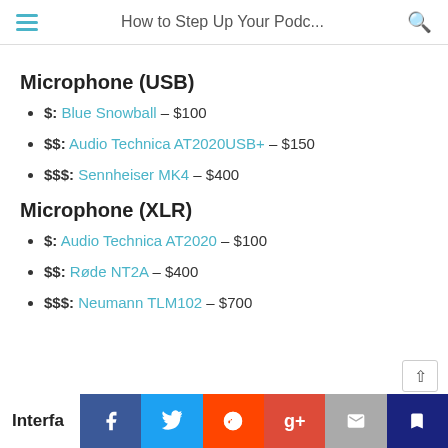How to Step Up Your Podc...
Microphone (USB)
$: Blue Snowball – $100
$$: Audio Technica AT2020USB+ – $150
$$$: Sennheiser MK4 – $400
Microphone (XLR)
$: Audio Technica AT2020 – $100
$$: Røde NT2A – $400
$$$: Neumann TLM102 – $700
Interfa... [share bar: Facebook, Twitter, Reddit, Google+, Email, Bookmark]